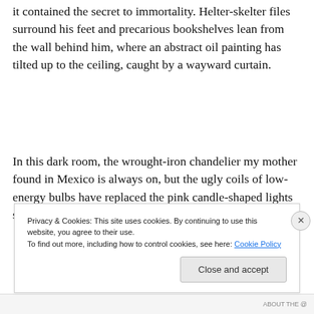it contained the secret to immortality. Helter-skelter files surround his feet and precarious bookshelves lean from the wall behind him, where an abstract oil painting has tilted up to the ceiling, caught by a wayward curtain.
In this dark room, the wrought-iron chandelier my mother found in Mexico is always on, but the ugly coils of low-energy bulbs have replaced the pink candle-shaped lights she favored, and their harsh, unforgiving glare intensifies
Privacy & Cookies: This site uses cookies. By continuing to use this website, you agree to their use.
To find out more, including how to control cookies, see here: Cookie Policy
Close and accept